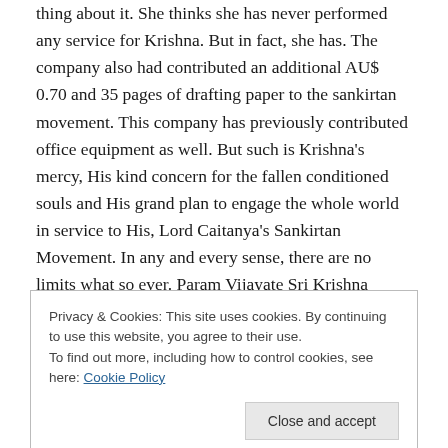thing about it. She thinks she has never performed any service for Krishna. But in fact, she has. The company also had contributed an additional AU$ 0.70 and 35 pages of drafting paper to the sankirtan movement. This company has previously contributed office equipment as well. But such is Krishna’s mercy, His kind concern for the fallen conditioned souls and His grand plan to engage the whole world in service to His, Lord Caitanya’s Sankirtan Movement. In any and every sense, there are no limits what so ever. Param Vijayate Sri Krishna Caitanya Sankirtanam!!!
Privacy & Cookies: This site uses cookies. By continuing to use this website, you agree to their use.
To find out more, including how to control cookies, see here: Cookie Policy
Close and accept